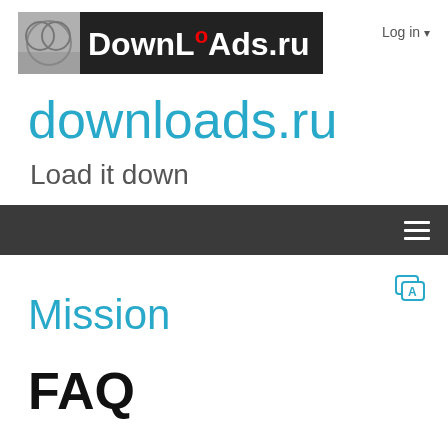[Figure (logo): DownLoads.ru logo with red superscript O, white bold text on dark background, left side shows circular graphic]
Log in ▾
downloads.ru
Load it down
[Figure (other): Dark navigation bar with hamburger menu icon (three horizontal lines) on right side]
[Figure (other): Translate icon - book with A letter in teal color]
Mission
FAQ